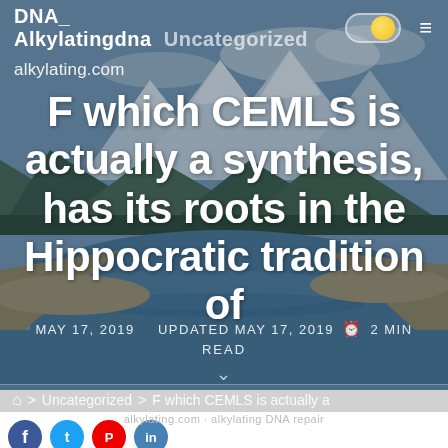DNA_ Alkylatingdna  Uncategorized  [toggle] ≡
alkylating.com
F which CEMLS is actually a synthesis, has its roots in the Hippocratic tradition of
MAY 17, 2019   UPDATED MAY 17, 2019   🕐 2 MIN READ
🏠 > Uncategorized > F which CEMLS is actually a